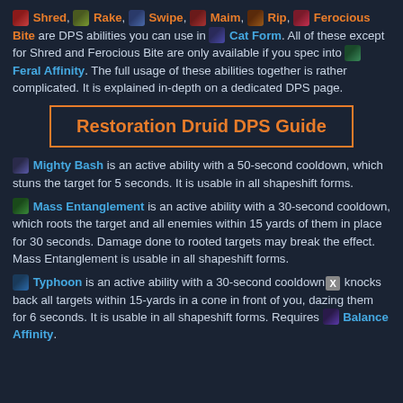Shred, Rake, Swipe, Maim, Rip, Ferocious Bite are DPS abilities you can use in Cat Form. All of these except for Shred and Ferocious Bite are only available if you spec into Feral Affinity. The full usage of these abilities together is rather complicated. It is explained in-depth on a dedicated DPS page.
Restoration Druid DPS Guide
Mighty Bash is an active ability with a 50-second cooldown, which stuns the target for 5 seconds. It is usable in all shapeshift forms.
Mass Entanglement is an active ability with a 30-second cooldown, which roots the target and all enemies within 15 yards of them in place for 30 seconds. Damage done to rooted targets may break the effect. Mass Entanglement is usable in all shapeshift forms.
Typhoon is an active ability with a 30-second cooldown. It knocks back all targets within 15-yards in a cone in front of you, dazing them for 6 seconds. It is usable in all shapeshift forms. Requires Balance Affinity.